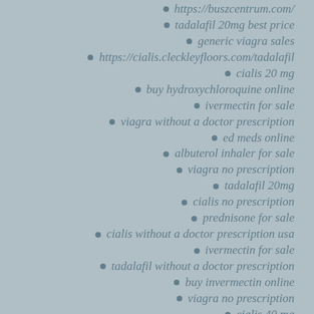https://buszcentrum.com/
tadalafil 20mg best price
generic viagra sales
https://cialis.cleckleyfloors.com/tadalafil
cialis 20 mg
buy hydroxychloroquine online
ivermectin for sale
viagra without a doctor prescription
ed meds online
albuterol inhaler for sale
viagra no prescription
tadalafil 20mg
cialis no prescription
prednisone for sale
cialis without a doctor prescription usa
ivermectin for sale
tadalafil without a doctor prescription
buy invermectin online
viagra no prescription
cialis 40 mg
cialis without a doctor prescription
tadalafil without a doctor prescription